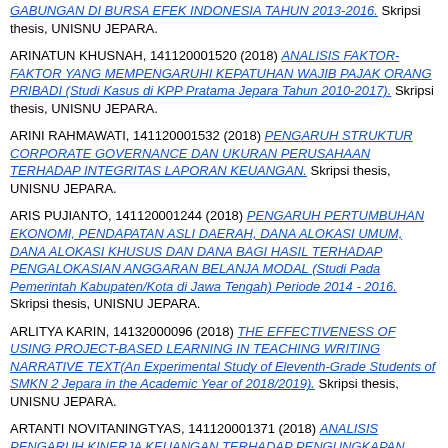GABUNGAN DI BURSA EFEK INDONESIA TAHUN 2013-2016. Skripsi thesis, UNISNU JEPARA.
ARINATUN KHUSNAH, 141120001520 (2018) ANALISIS FAKTOR-FAKTOR YANG MEMPENGARUHI KEPATUHAN WAJIB PAJAK ORANG PRIBADI (Studi Kasus di KPP Pratama Jepara Tahun 2010-2017). Skripsi thesis, UNISNU JEPARA.
ARINI RAHMAWATI, 141120001532 (2018) PENGARUH STRUKTUR CORPORATE GOVERNANCE DAN UKURAN PERUSAHAAN TERHADAP INTEGRITAS LAPORAN KEUANGAN. Skripsi thesis, UNISNU JEPARA.
ARIS PUJIANTO, 141120001244 (2018) PENGARUH PERTUMBUHAN EKONOMI, PENDAPATAN ASLI DAERAH, DANA ALOKASI UMUM, DANA ALOKASI KHUSUS DAN DANA BAGI HASIL TERHADAP PENGALOKASIAN ANGGARAN BELANJA MODAL (Studi Pada Pemerintah Kabupaten/Kota di Jawa Tengah) Periode 2014 - 2016. Skripsi thesis, UNISNU JEPARA.
ARLITYA KARIN, 14132000096 (2018) THE EFFECTIVENESS OF USING PROJECT-BASED LEARNING IN TEACHING WRITING NARRATIVE TEXT(An Experimental Study of Eleventh-Grade Students of SMKN 2 Jepara in the Academic Year of 2018/2019). Skripsi thesis, UNISNU JEPARA.
ARTANTI NOVITANINGTYAS, 141120001371 (2018) ANALISIS PENGARUH KINERJA KEUANGAN TERHADAP PENGUNGKAPAN TANGGUNG JAWAB SOSIAL PERUSAHAAN (Studi Empiris pada Perusahaan Sektor Pertambangan yang Terdaftar di Bursa Efek Indonesia Periode 2014 – 2017). Skripsi thesis, UNISNU JEPARA.
ARUM FITRIYANI, 141120001508 (2018) ANALISIS FAKTOR-FAKTOR